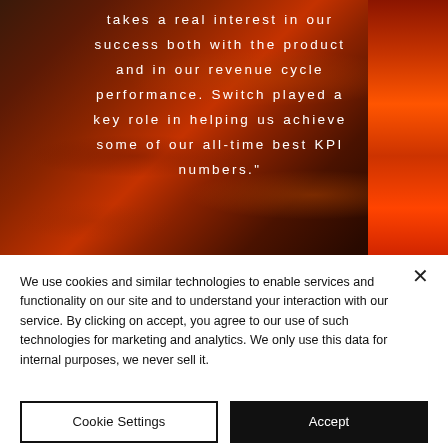[Figure (photo): Dramatic dark red and orange sunset sky with clouds, serving as background for a testimonial quote in white spaced text reading: takes a real interest in our success both with the product and in our revenue cycle performance. Switch played a key role in helping us achieve some of our all-time best KPI numbers."]
takes a real interest in our success both with the product and in our revenue cycle performance. Switch played a key role in helping us achieve some of our all-time best KPI numbers."
We use cookies and similar technologies to enable services and functionality on our site and to understand your interaction with our service. By clicking on accept, you agree to our use of such technologies for marketing and analytics. We only use this data for internal purposes, we never sell it.
Cookie Settings
Accept